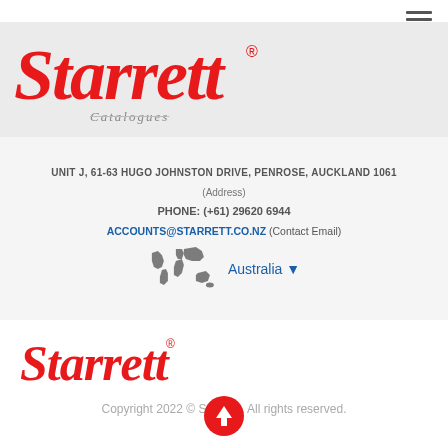[Figure (logo): Hamburger menu icon (three horizontal lines) in top right corner]
[Figure (logo): Starrett logo in red cursive script with registered trademark symbol, large, in header section]
Catalogues
UNIT J, 61-63 HUGO JOHNSTON DRIVE, PENROSE, AUCKLAND 1061
(Address)
PHONE: (+61) 29620 6944
ACCOUNTS@STARRETT.CO.NZ (Contact Email)
[Figure (illustration): World map icon in dark gray with Australia region selector dropdown showing 'Australia']
[Figure (logo): Starrett logo in red cursive script with registered trademark symbol, smaller, in footer]
Copyright 2022 © Starrett . All rights reserved.
[Figure (other): Red circular scroll-to-top button with white upward arrow]